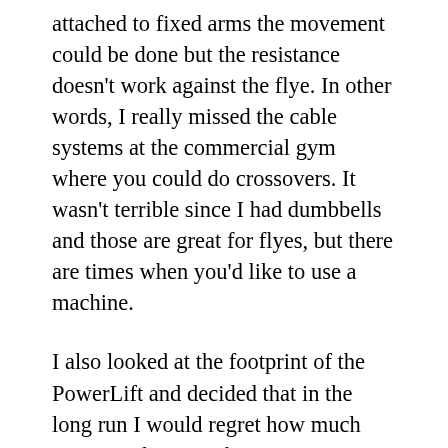attached to fixed arms the movement could be done but the resistance doesn't work against the flye. In other words, I really missed the cable systems at the commercial gym where you could do crossovers. It wasn't terrible since I had dumbbells and those are great for flyes, but there are times when you'd like to use a machine.
I also looked at the footprint of the PowerLift and decided that in the long run I would regret how much space it takes up. There was equipment I knew I'd eventually want to get and there wasn't room for it as long as the PowerLift was there. So I made the decision to sell the PowerLift, which I did for about $200